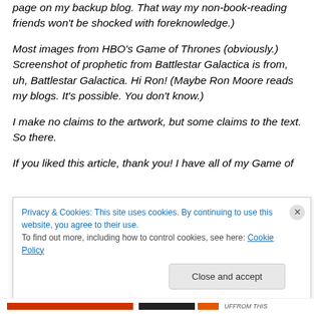page on my backup blog. That way my non-book-reading friends won't be shocked with foreknowledge.)
Most images from HBO's Game of Thrones (obviously.) Screenshot of prophetic from Battlestar Galactica is from, uh, Battlestar Galactica. Hi Ron! (Maybe Ron Moore reads my blogs. It's possible. You don't know.)
I make no claims to the artwork, but some claims to the text. So there.
If you liked this article, thank you! I have all of my Game of
Privacy & Cookies: This site uses cookies. By continuing to use this website, you agree to their use.
To find out more, including how to control cookies, see here: Cookie Policy
Close and accept